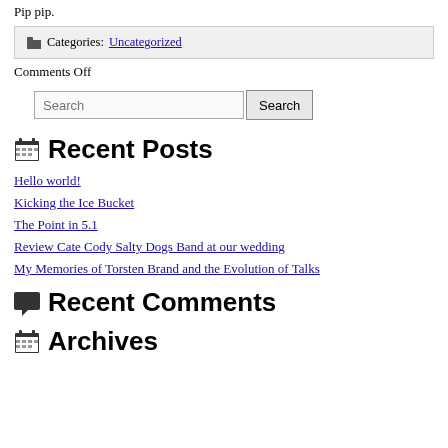Pip pip.
Categories: Uncategorized
Comments Off
Search
Recent Posts
Hello world!
Kicking the Ice Bucket
The Point in 5.1
Review Cate Cody Salty Dogs Band at our wedding
My Memories of Torsten Brand and the Evolution of Talks
Recent Comments
Archives